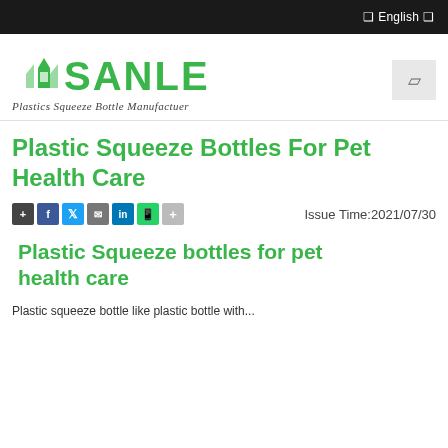❑ English ❑
[Figure (logo): SANLE logo — green bold text with bottle/home icon, tagline: Plastics Squeeze Bottle Manufactuer]
Plastic Squeeze Bottles For Pet Health Care
Issue Time:2021/07/30
Plastic Squeeze bottles for pet health care
Plastic squeeze bottle like plastic bottle with...